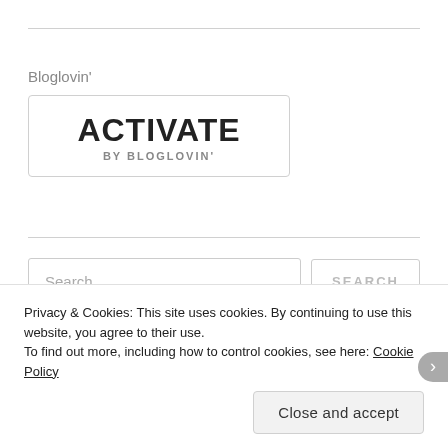Bloglovin'
[Figure (logo): Activate by Bloglovin' logo in a rounded rectangle border]
Search …
Privacy & Cookies: This site uses cookies. By continuing to use this website, you agree to their use.
To find out more, including how to control cookies, see here: Cookie Policy
Close and accept